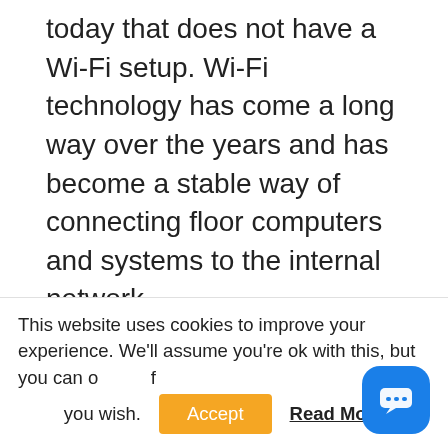today that does not have a Wi-Fi setup. Wi-Fi technology has come a long way over the years and has become a stable way of connecting floor computers and systems to the internal network.
I'd also be hard-pressed to walk into a factory where the Wi-Fi isn't secured with a password. So then why talk about “Open Wi-Fi”? Well, in most factories I visit, there is only one Wi-Fi SSID, and everyone knows the password. If everyone in the
This website uses cookies to improve your experience. We'll assume you're ok with this, but you can opt-out if you wish.